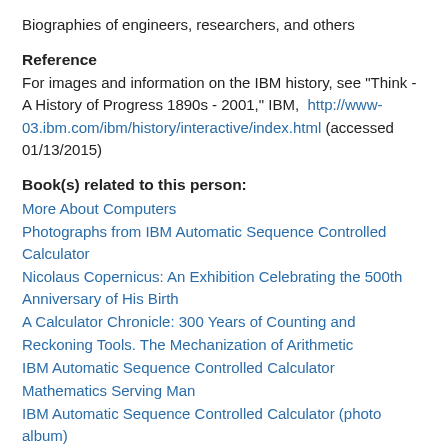Biographies of engineers, researchers, and others
Reference
For images and information on the IBM history, see "Think - A History of Progress 1890s - 2001," IBM,  http://www-03.ibm.com/ibm/history/interactive/index.html (accessed 01/13/2015)
Book(s) related to this person:
More About Computers
Photographs from IBM Automatic Sequence Controlled Calculator
Nicolaus Copernicus: An Exhibition Celebrating the 500th Anniversary of His Birth
A Calculator Chronicle: 300 Years of Counting and Reckoning Tools. The Mechanization of Arithmetic
IBM Automatic Sequence Controlled Calculator
Mathematics Serving Man
IBM Automatic Sequence Controlled Calculator (photo album)
IBM Automatic Sequence Controlled Calculator